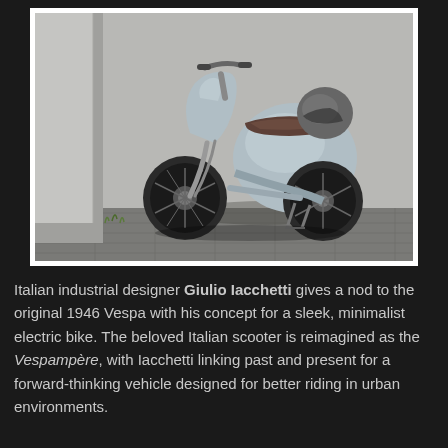[Figure (photo): A sleek light blue Vespa-style electric scooter concept (Vespampère) parked against a concrete wall on a brick/tile surface. A helmet rests on the seat. The scooter has a minimalist, rounded design reminiscent of the original 1946 Vespa.]
Italian industrial designer Giulio Iacchetti gives a nod to the original 1946 Vespa with his concept for a sleek, minimalist electric bike. The beloved Italian scooter is reimagined as the Vespampère, with Iacchetti linking past and present for a forward-thinking vehicle designed for better riding in urban environments.